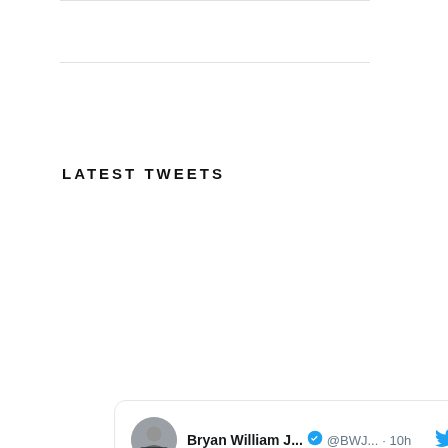LATEST TWEETS
[Figure (screenshot): Embedded tweet card from Bryan William J... (@BWJ...) 10h ago, with text 'Andrew is not wrong here...' and a quoted tweet from Andrew D. Hu... (@hube...) 19h ago about 3 non-negotiable protocols including viewing sunlight for 10-20 minutes each morning within 60min. Includes 'Show this thread' link.]